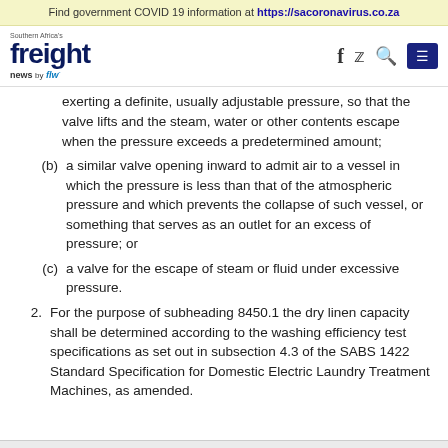Find government COVID 19 information at https://sacoronavirus.co.za
Southern Africa's freight news by flw — navigation icons: f (Facebook), Twitter, Search, Menu
exerting a definite, usually adjustable pressure, so that the valve lifts and the steam, water or other contents escape when the pressure exceeds a predetermined amount;
(b) a similar valve opening inward to admit air to a vessel in which the pressure is less than that of the atmospheric pressure and which prevents the collapse of such vessel, or something that serves as an outlet for an excess of pressure; or
(c) a valve for the escape of steam or fluid under excessive pressure.
2. For the purpose of subheading 8450.1 the dry linen capacity shall be determined according to the washing efficiency test specifications as set out in subsection 4.3 of the SABS 1422 Standard Specification for Domestic Electric Laundry Treatment Machines, as amended.